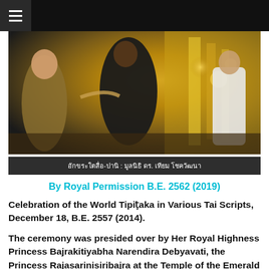≡
[Figure (photo): A ceremonial scene inside an ornately decorated Thai temple with golden decorations. People in formal attire including military uniform are visible. Thai text caption reads: อักขระใตสื่อ-ปานิ : มูลนิธิ ดร. เทียม โชควัฒนา]
อักขระใตสื่อ-ปานิ : มูลนิธิ ดร. เทียม โชควัฒนา
By Royal Permission B.E. 2562 (2019)
Celebration of the World Tipiṭaka in Various Tai Scripts, December 18, B.E. 2557 (2014).
The ceremony was presided over by Her Royal Highness Princess Bajrakitiyabha Narendira Debyavati, the Princess Rajasarinisiribajra at the Temple of the Emerald Buddha in Bangkok.